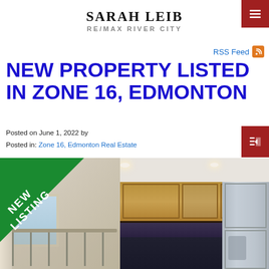SARAH LEIB
RE/MAX RIVER CITY
RSS Feed
NEW PROPERTY LISTED IN ZONE 16, EDMONTON
Posted on June 1, 2022 by
Posted in: Zone 16, Edmonton Real Estate
[Figure (photo): Interior photo of a home showing a kitchen with wooden cabinets and stainless steel refrigerator, with a 'NEW LISTING' badge overlaid on the top-left corner]